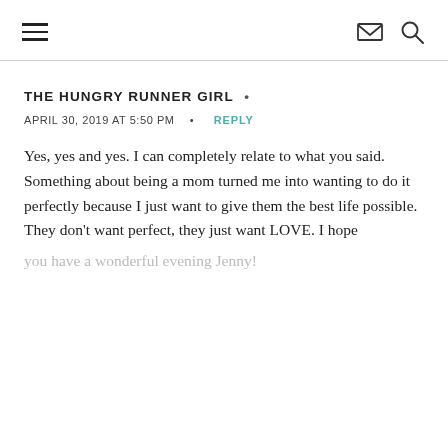≡  ✉ 🔍
THE HUNGRY RUNNER GIRL  •
APRIL 30, 2019 AT 5:50 PM  •  REPLY
Yes, yes and yes. I can completely relate to what you said. Something about being a mom turned me into wanting to do it perfectly because I just want to give them the best life possible. They don't want perfect, they just want LOVE. I hope you have a wonderful evening Jenny!